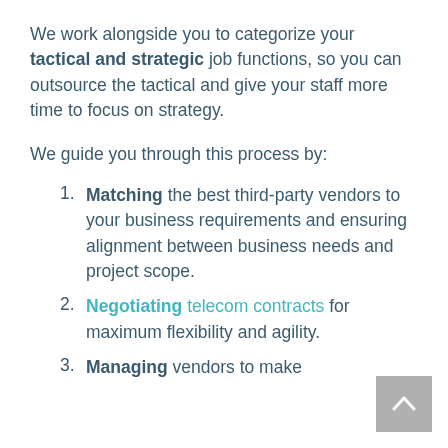We work alongside you to categorize your tactical and strategic job functions, so you can outsource the tactical and give your staff more time to focus on strategy.
We guide you through this process by:
Matching the best third-party vendors to your business requirements and ensuring alignment between business needs and project scope.
Negotiating telecom contracts for maximum flexibility and agility.
Managing vendors to make